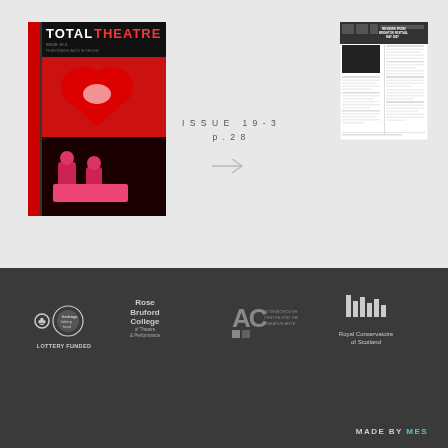[Figure (illustration): Total Theatre magazine cover thumbnail showing red heart shape with figures, Issue 19-3]
ISSUE 19-3
p. 28
[Figure (screenshot): Thumbnail of magazine page 28 with heading 'REVIEWS FROM BRIGHTON FESTIVAL MAY 2007']
[Figure (logo): Heritage Lottery Fund logo with text LOTTERY FUNDED]
[Figure (logo): Rose Bruford College of Theatre & Performance logo]
[Figure (logo): Attenborough Centre for the Creative Arts (ACCA) logo]
[Figure (logo): Royal Conservatoire of Scotland logo]
MADE BY MES